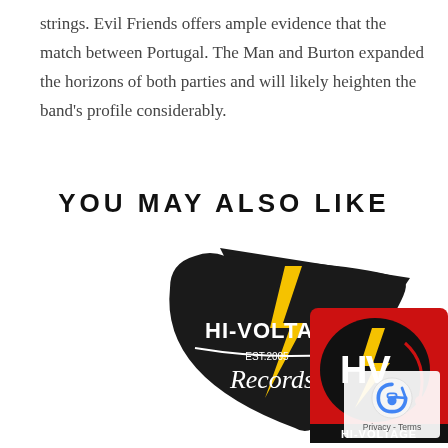strings. Evil Friends offers ample evidence that the match between Portugal. The Man and Burton expanded the horizons of both parties and will likely heighten the band's profile considerably.
YOU MAY ALSO LIKE
[Figure (photo): Two Hi-Voltage Records enamel pins — one black triangular guitar pick shape with yellow lightning bolt and script text 'HI-VOLTAGE Records EST. 2005', and one red rectangular pin with HV logo and turntable graphic reading 'HI-VOLTAGE' at the bottom.]